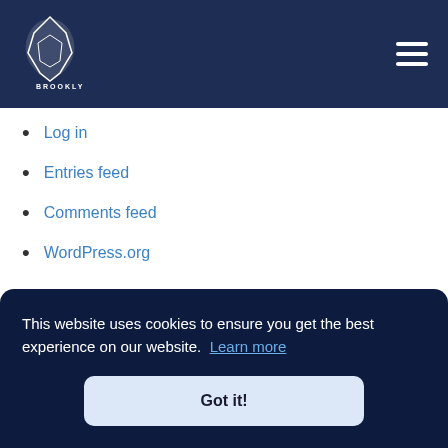Meta / Knights navigation bar
Log in
Entries feed
Comments feed
WordPress.org
OUR PARTNERS
This website uses cookies to ensure you get the best experience on our website. Learn more
Got it!